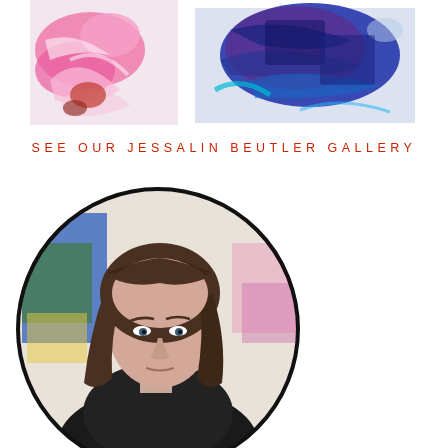[Figure (photo): Two abstract paintings side by side: left painting features pink, white and red brushstrokes; right painting features deep blue and purple brushstrokes on white background.]
SEE OUR JESSALIN BEUTLER GALLERY
[Figure (photo): Circular portrait photo of a woman with long brown hair, wearing a dark jacket, set against a blurred studio background with colorful paintings.]